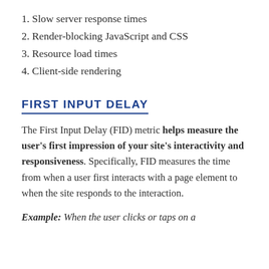1. Slow server response times
2. Render-blocking JavaScript and CSS
3. Resource load times
4. Client-side rendering
FIRST INPUT DELAY
The First Input Delay (FID) metric helps measure the user's first impression of your site's interactivity and responsiveness. Specifically, FID measures the time from when a user first interacts with a page element to when the site responds to the interaction.
Example: When the user clicks or taps on a